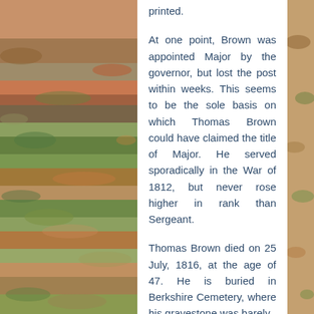[Figure (photo): Background photo of colorful mossy or lichen-covered rocky terrain with shades of orange, red, green, yellow and grey. The photo appears on both the left and right sides of the page behind a central white text column.]
printed.
At one point, Brown was appointed Major by the governor, but lost the post within weeks. This seems to be the sole basis on which Thomas Brown could have claimed the title of Major. He served sporadically in the War of 1812, but never rose higher in rank than Sergeant.
Thomas Brown died on 25 July, 1816, at the age of 47. He is buried in Berkshire Cemetery, where his gravestone was barely readable in 2013. Most of the